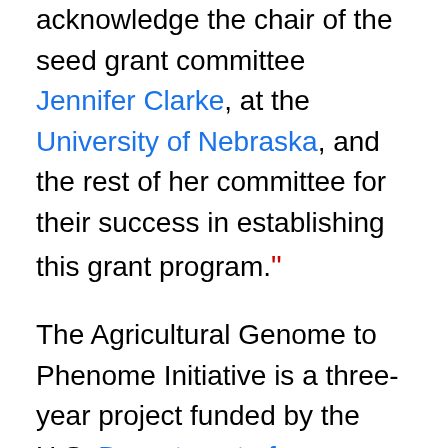acknowledge the chair of the seed grant committee Jennifer Clarke, at the University of Nebraska, and the rest of her committee for their success in establishing this grant program.”
The Agricultural Genome to Phenome Initiative is a three-year project funded by the U.S. Department of Agriculture's National Institute of Food and Agriculture. The goal of AG2PI is to connect crop and livestock scientists to each other and to those working in data science, statistics, engineering and social sciences to identify shared problems and collaborate on solutions.
This is the second of the research of AG2PI...